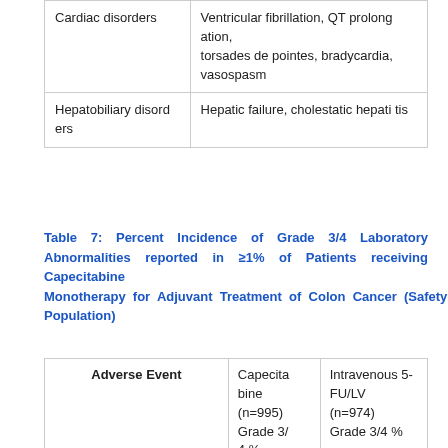| Disorder | Adverse Events |
| --- | --- |
| Cardiac disorders | Ventricular fibrillation, QT prolongation, torsades de pointes, bradycardia, vasospasm |
| Hepatobiliary disorders | Hepatic failure, cholestatic hepatitis |
Table 7: Percent Incidence of Grade 3/4 Laboratory Abnormalities reported in ≥1% of Patients receiving Capecitabine Monotherapy for Adjuvant Treatment of Colon Cancer (Safety Population)
| Adverse Event | Capecitabine (n=995) Grade 3/4 % | Intravenous 5-FU/LV (n=974) Grade 3/4 % |
| --- | --- | --- |
|  |  |  |